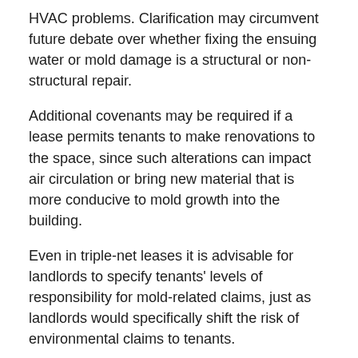HVAC problems. Clarification may circumvent future debate over whether fixing the ensuing water or mold damage is a structural or non-structural repair.
Additional covenants may be required if a lease permits tenants to make renovations to the space, since such alterations can impact air circulation or bring new material that is more conducive to mold growth into the building.
Even in triple-net leases it is advisable for landlords to specify tenants' levels of responsibility for mold-related claims, just as landlords would specifically shift the risk of environmental claims to tenants.
Inspection. Sellers and landlords often need to decide to what extent they want to provide representations about the condition of their premises. One frequent trade-off for limited representations, or disclaimers of any